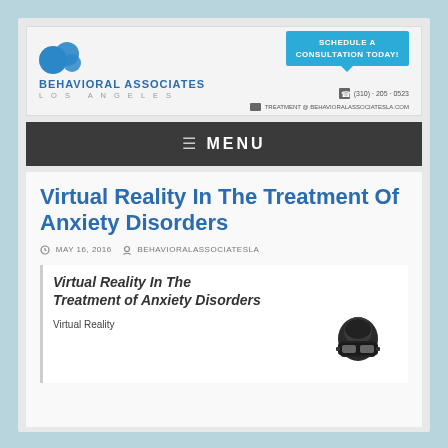[Figure (logo): Behavioral Associates Los Angeles logo with blue overlapping circles]
Schedule a Consultation Today!
(310) · 205 · 0523
treatment @ behavioralassociatesla.com
≡  MENU
Virtual Reality In The Treatment Of Anxiety Disorders
MAY 16, 2016   BEHAVIORALASSOCIATESLA
Virtual Reality In The Treatment of Anxiety Disorders
Virtual Reality